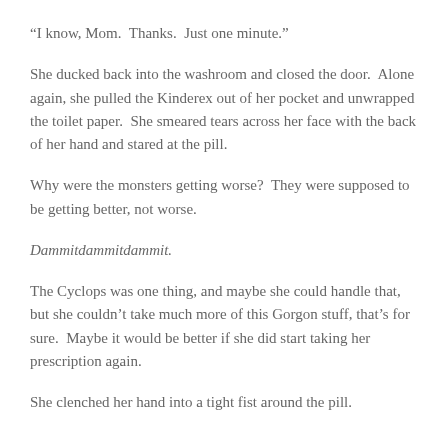“I know, Mom.  Thanks.  Just one minute.”
She ducked back into the washroom and closed the door.  Alone again, she pulled the Kinderex out of her pocket and unwrapped the toilet paper.  She smeared tears across her face with the back of her hand and stared at the pill.
Why were the monsters getting worse?  They were supposed to be getting better, not worse.
Dammitdammitdammit.
The Cyclops was one thing, and maybe she could handle that, but she couldn’t take much more of this Gorgon stuff, that’s for sure.  Maybe it would be better if she did start taking her prescription again.
She clenched her hand into a tight fist around the pill.